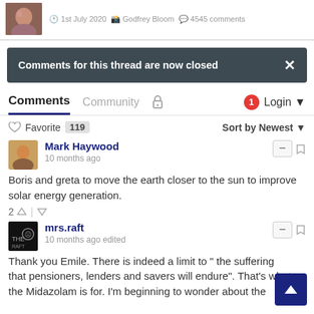1st July 2020 · Godfrey Bloom · 4545 comments
Comments for this thread are now closed
Comments   Community   🔒   1   Login
♡ Favorite  119   Sort by Newest
Mark Haywood
10 months ago
Boris and greta to move the earth closer to the sun to improve solar energy generation.
2 ↑ | ↓
mrs.raft
10 months ago edited
Thank you Emile. There is indeed a limit to " the suffering that pensioners, lenders and savers will endure". That's what the Midazolam is for. I'm beginning to wonder about the